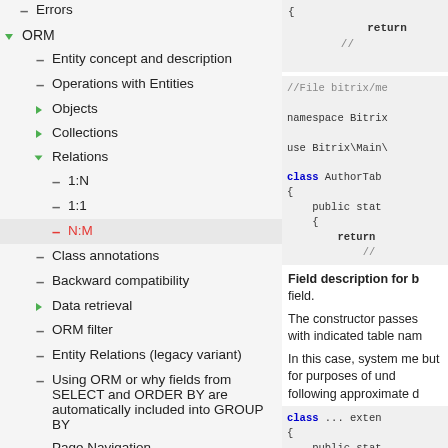Errors
ORM
Entity concept and description
Operations with Entities
Objects
Collections
Relations
1:N
1:1
N:M
Class annotations
Backward compatibility
Data retrieval
ORM filter
Entity Relations (legacy variant)
Using ORM or why fields from SELECT and ORDER BY are automatically included into GROUP BY
Page Navigation
ORM integration in the information blocks
[Figure (screenshot): Code block showing PHP return statement inside a function body]
[Figure (screenshot): PHP code block with //File bitrix/... comment, namespace Bitrix..., use Bitrix\Main\..., class AuthorTab... with public static method returning a value]
Field description for b... field.
The constructor passes... with indicated table nam...
In this case, system me... but for purposes of und... following approximate d...
[Figure (screenshot): PHP code block showing: class ... extends with public stat... method]